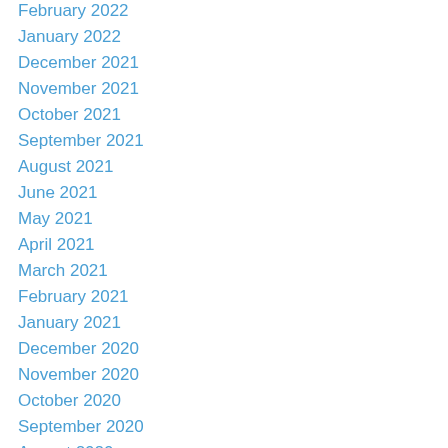February 2022
January 2022
December 2021
November 2021
October 2021
September 2021
August 2021
June 2021
May 2021
April 2021
March 2021
February 2021
January 2021
December 2020
November 2020
October 2020
September 2020
August 2020
July 2020
June 2020